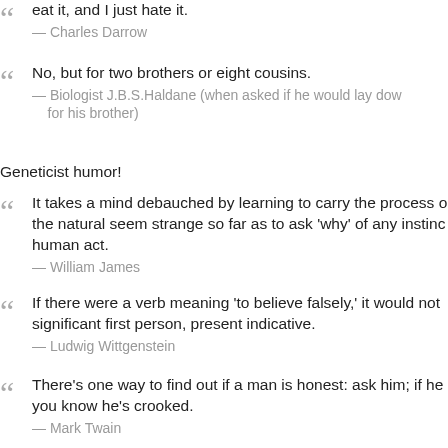eat it, and I just hate it.
— Charles Darrow
No, but for two brothers or eight cousins.
— Biologist J.B.S.Haldane (when asked if he would lay down for his brother)
Geneticist humor!
It takes a mind debauched by learning to carry the process of making the natural seem strange so far as to ask 'why' of any instinct or human act.
— William James
If there were a verb meaning 'to believe falsely,' it would not have a significant first person, present indicative.
— Ludwig Wittgenstein
There's one way to find out if a man is honest: ask him; if he says yes, you know he's crooked.
— Mark Twain